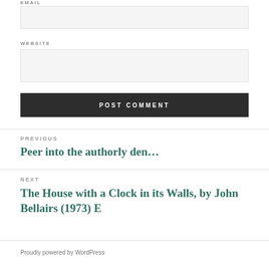EMAIL
WEBSITE
POST COMMENT
PREVIOUS
Peer into the authorly den…
NEXT
The House with a Clock in its Walls, by John Bellairs (1973) E
Proudly powered by WordPress